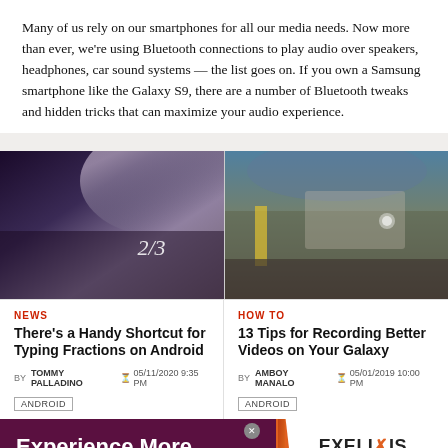Many of us rely on our smartphones for all our media needs. Now more than ever, we're using Bluetooth connections to play audio over speakers, headphones, car sound systems — the list goes on. If you own a Samsung smartphone like the Galaxy S9, there are a number of Bluetooth tweaks and hidden tricks that can maximize your audio experience.
[Figure (photo): Close-up of a dark Samsung smartphone with '2/3' displayed on screen]
[Figure (photo): Hand holding a Samsung Galaxy phone horizontally recording video of a park path]
NEWS
There's a Handy Shortcut for Typing Fractions on Android
BY TOMMY PALLADINO  05/11/2020 9:35 PM
ANDROID
HOW TO
13 Tips for Recording Better Videos on Your Galaxy
BY AMBOY MANALO  05/01/2019 10:00 PM
ANDROID
[Figure (infographic): Advertisement banner: 'Experience More. Innovate oncology with us.' with EXELIXIS logo and 'View jobs' link]